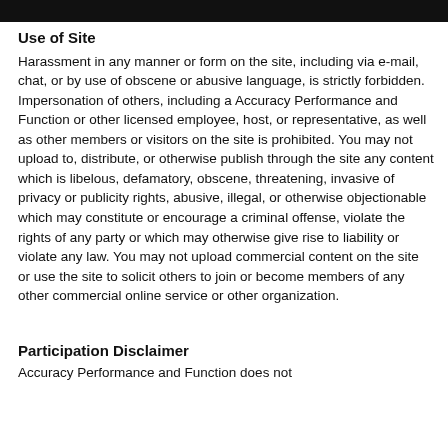Use of Site
Harassment in any manner or form on the site, including via e-mail, chat, or by use of obscene or abusive language, is strictly forbidden. Impersonation of others, including a Accuracy Performance and Function or other licensed employee, host, or representative, as well as other members or visitors on the site is prohibited. You may not upload to, distribute, or otherwise publish through the site any content which is libelous, defamatory, obscene, threatening, invasive of privacy or publicity rights, abusive, illegal, or otherwise objectionable which may constitute or encourage a criminal offense, violate the rights of any party or which may otherwise give rise to liability or violate any law. You may not upload commercial content on the site or use the site to solicit others to join or become members of any other commercial online service or other organization.
Participation Disclaimer
Accuracy Performance and Function does not